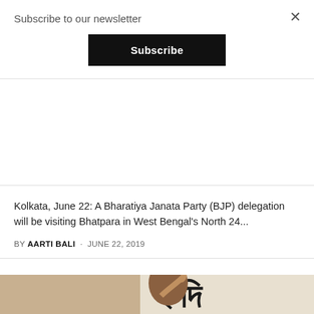Subscribe to our newsletter
Subscribe
Kolkata, June 22: A Bharatiya Janata Party (BJP) delegation will be visiting Bhatpara in West Bengal's North 24...
BY AARTI BALI · JUNE 22, 2019
[Figure (photo): A woman with glasses raising her hand and holding a microphone, with Bengali script text visible in the background]